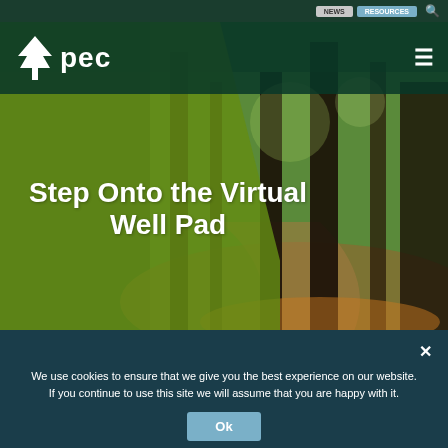NEWS | RESOURCES
[Figure (screenshot): PEC website header with tree logo and 'pec' text on dark teal background, hamburger menu icon on right]
[Figure (photo): Forest trail with tall trees, green foliage, sunlight filtering through trees, overlaid with semi-transparent olive-green diagonal polygon]
Step Onto the Virtual Well Pad
We use cookies to ensure that we give you the best experience on our website. If you continue to use this site we will assume that you are happy with it.
Ok